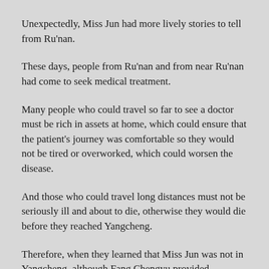Unexpectedly, Miss Jun had more lively stories to tell from Ru'nan.
These days, people from Ru'nan and from near Ru'nan had come to seek medical treatment.
Many people who could travel so far to see a doctor must be rich in assets at home, which could ensure that the patient's journey was comfortable so they would not be tired or overworked, which could worsen the disease.
And those who could travel long distances must not be seriously ill and about to die, otherwise they would die before they reached Yangcheng.
Therefore, when they learned that Miss Jun was not in Yangcheng, although Fang Chengyu provided